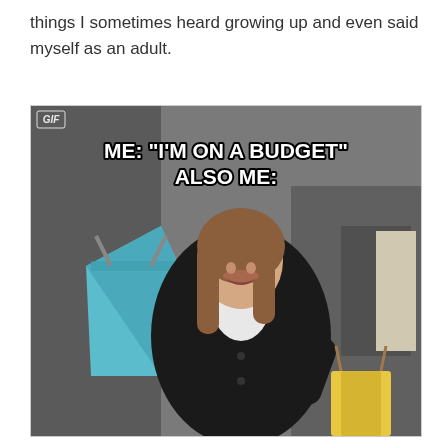things I sometimes heard growing up and even said myself as an adult.
[Figure (photo): Meme image of a smiling woman in a black jacket carrying shopping bags. Text overlay reads: ME: “I’M ON A BUDGET” ALSO ME: with a GIF watermark in the top left corner.]